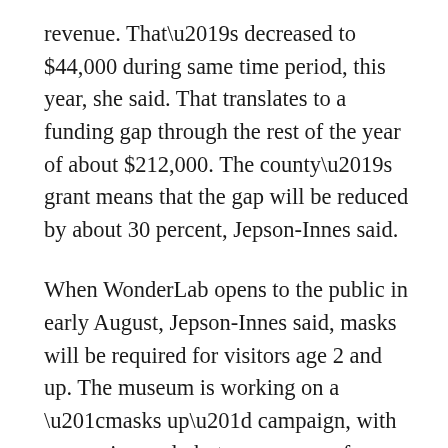revenue. That's decreased to $44,000 during same time period, this year, she said. That translates to a funding gap through the rest of the year of about $212,000. The county's grant means that the gap will be reduced by about 30 percent, Jepson-Innes said.
When WonderLab opens to the public in early August, Jepson-Innes said, masks will be required for visitors age 2 and up. The museum is working on a “masks up” campaign, with messaging and photos as a way of promoting, the “new normal,” Jepson Innes said.
Erin Booher, with Rising Star Gymnastics, also spoke during public commentary on Wednesday to